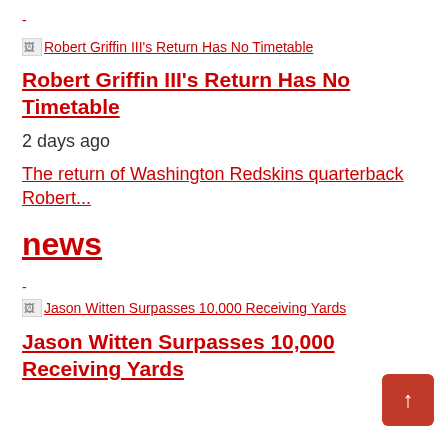-
[Figure (other): Broken image placeholder linked to 'Robert Griffin III's Return Has No Timetable']
Robert Griffin III's Return Has No Timetable
2 days ago
The return of Washington Redskins quarterback Robert...
news
-
[Figure (other): Broken image placeholder linked to 'Jason Witten Surpasses 10,000 Receiving Yards']
Jason Witten Surpasses 10,000 Receiving Yards